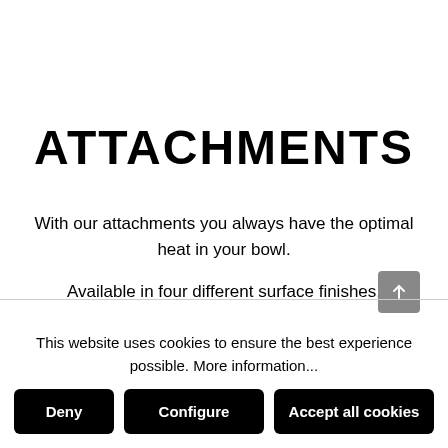ATTACHMENTS
With our attachments you always have the optimal heat in your bowl.
Available in four different surface finishes.
This website uses cookies to ensure the best experience possible. More information...
Deny
Configure
Accept all cookies